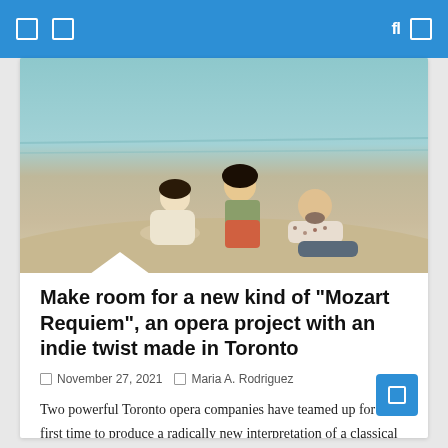Navigation bar with icons
[Figure (photo): Three people sitting on a beach shore. One person sits on the sand in light clothing on the left, a person in the middle wears an orange/red skirt and olive top, and a person on the right in a floral shirt reclines on the sand. Water and shoreline visible in background.]
Make room for a new kind of “Mozart Requiem”, an opera project with an indie twist made in Toronto
November 27, 2021   Maria A. Rodriguez
Two powerful Toronto opera companies have teamed up for the first time to produce a radically new interpretation of a classical work. Against the Gra   Read More…